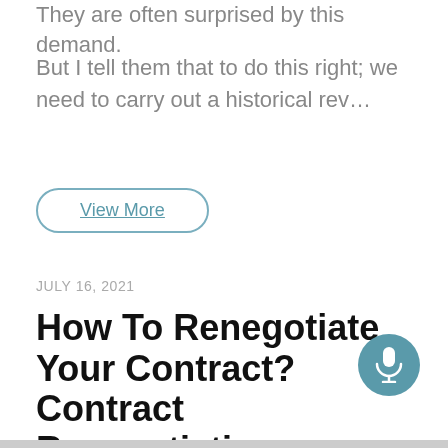They are often surprised by this demand.
But I tell them that to do this right; we need to carry out a historical rev…
View More
JULY 16, 2021
How To Renegotiate Your Contract? Contract Renegotiation - Healthcare Management